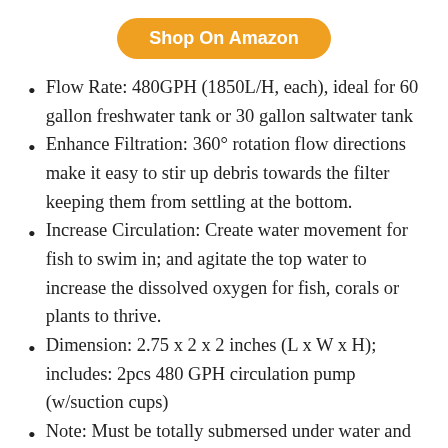[Figure (other): Orange rounded button labeled 'Shop On Amazon']
Flow Rate: 480GPH (1850L/H, each), ideal for 60 gallon freshwater tank or 30 gallon saltwater tank
Enhance Filtration: 360° rotation flow directions make it easy to stir up debris towards the filter keeping them from settling at the bottom.
Increase Circulation: Create water movement for fish to swim in; and agitate the top water to increase the dissolved oxygen for fish, corals or plants to thrive.
Dimension: 2.75 x 2 x 2 inches (L x W x H); includes: 2pcs 480 GPH circulation pump (w/suction cups)
Note: Must be totally submersed under water and